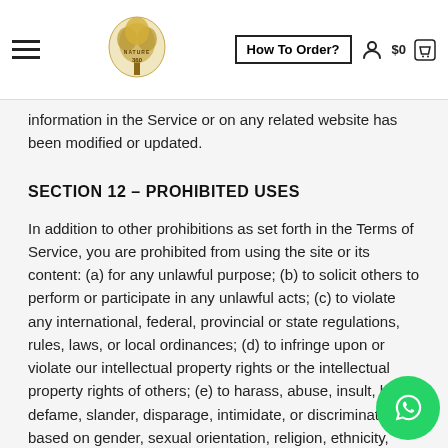Nature 360 — How To Order? $0
information in the Service or on any related website has been modified or updated.
SECTION 12 – PROHIBITED USES
In addition to other prohibitions as set forth in the Terms of Service, you are prohibited from using the site or its content: (a) for any unlawful purpose; (b) to solicit others to perform or participate in any unlawful acts; (c) to violate any international, federal, provincial or state regulations, rules, laws, or local ordinances; (d) to infringe upon or violate our intellectual property rights or the intellectual property rights of others; (e) to harass, abuse, insult, harm, defame, slander, disparage, intimidate, or discriminate based on gender, sexual orientation, religion, ethnicity, race, age, national origin, or disability; (f) submit false or misleading information; (g) to upload or transmit viruses or any other type of malicious code that may be used in any way that will affect the functionality or